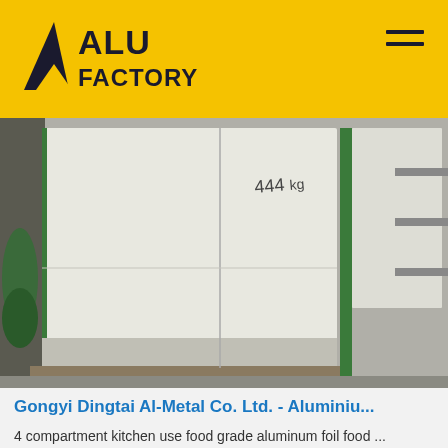ALU FACTORY
[Figure (photo): Large white cardboard or foam boxes stacked in a warehouse/factory setting, with green trim. A handwritten label '444 kg' is visible on one box. Metal shelving and materials visible in background.]
Gongyi Dingtai Al-Metal Co. Ltd. - Aluminiu...
4 compartment kitchen use food grade aluminum foil food ...
[Figure (other): Get Price button and TOP navigation button with dotted arc and blue TOP text]
[Figure (photo): Partial bottom photo showing a worker/person in a factory or workshop setting]